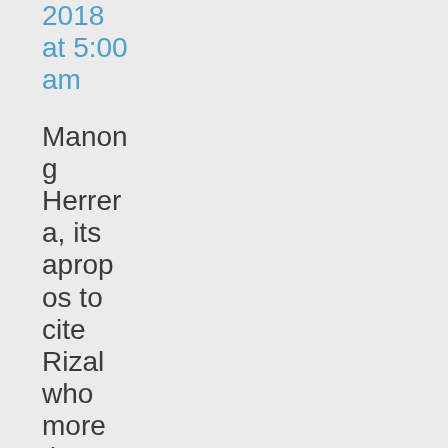2018 at 5:00 am
Manong Herrera, its apropos to cite Rizal who more than 120 years